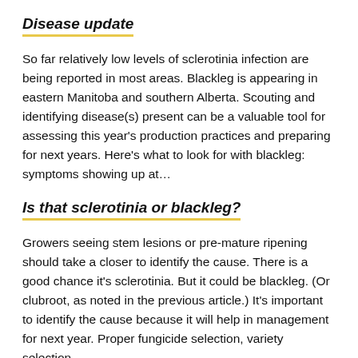Disease update
So far relatively low levels of sclerotinia infection are being reported in most areas. Blackleg is appearing in eastern Manitoba and southern Alberta. Scouting and identifying disease(s) present can be a valuable tool for assessing this year's production practices and preparing for next years. Here's what to look for with blackleg: symptoms showing up at…
Is that sclerotinia or blackleg?
Growers seeing stem lesions or pre-mature ripening should take a closer to identify the cause. There is a good chance it's sclerotinia. But it could be blackleg. (Or clubroot, as noted in the previous article.) It's important to identify the cause because it will help in management for next year. Proper fungicide selection, variety selection,…